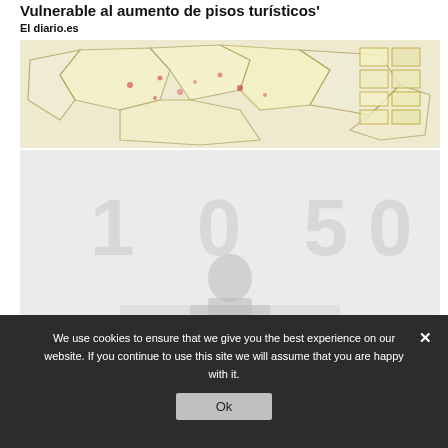Vulnerable al aumento de pisos turísticos'
El diario.es
[Figure (map): Map showing neighborhood zones with colored outlines, scattered markers, on a light yellow-beige background]
conferences
#DadesXCanviClimàtic
[Figure (photo): A person at a podium or desk, with large faded numbers '1 0 50' overlaid in the background, grayscale]
We use cookies to ensure that we give you the best experience on our website. If you continue to use this site we will assume that you are happy with it.